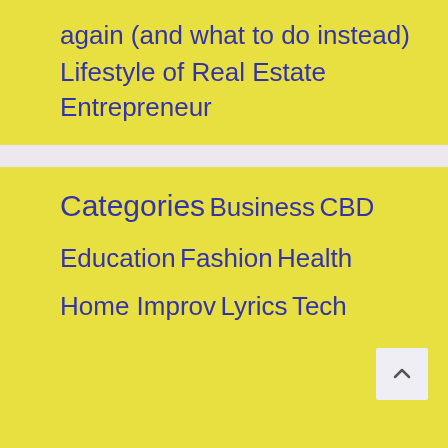again (and what to do instead)
Lifestyle of Real Estate Entrepreneur
Categories
Business
CBD
Education
Fashion
Health
Home Improv
Lyrics
Tech